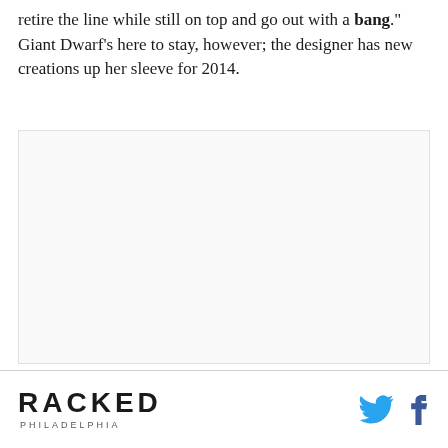retire the line while still on top and go out with a bang." Giant Dwarf's here to stay, however; the designer has new creations up her sleeve for 2014.
[Figure (photo): Large placeholder image area with light gray border]
RACKED PHILADELPHIA — social icons: Twitter, Facebook